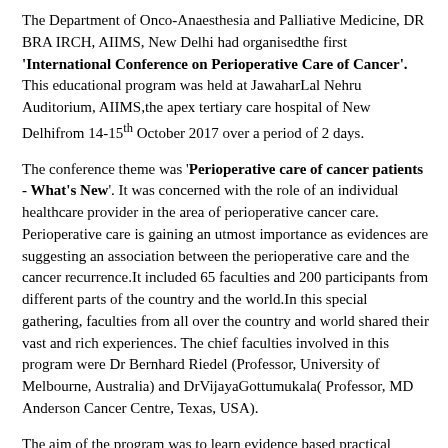The Department of Onco-Anaesthesia and Palliative Medicine, DR BRA IRCH, AIIMS, New Delhi had organisedthe first 'International Conference on Perioperative Care of Cancer'. This educational program was held at JawaharLal Nehru Auditorium, AIIMS,the apex tertiary care hospital of New Delhifrom 14-15th October 2017 over a period of 2 days.
The conference theme was 'Perioperative care of cancer patients - What's New'. It was concerned with the role of an individual healthcare provider in the area of perioperative cancer care. Perioperative care is gaining an utmost importance as evidences are suggesting an association between the perioperative care and the cancer recurrence.It included 65 faculties and 200 participants from different parts of the country and the world.In this special gathering, faculties from all over the country and world shared their vast and rich experiences. The chief faculties involved in this program were Dr Bernhard Riedel (Professor, University of Melbourne, Australia) and DrVijayaGottumukala( Professor, MD Anderson Cancer Centre, Texas, USA).
The aim of the program was to learn evidence based practical knowledge in standards of cancer care and to recognize the health needs of cancer patients to improve their quality of life. The...